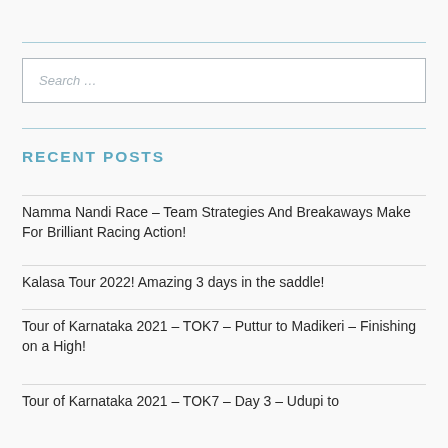[Figure (other): Search box input field with placeholder text 'Search ...']
RECENT POSTS
Namma Nandi Race – Team Strategies And Breakaways Make For Brilliant Racing Action!
Kalasa Tour 2022! Amazing 3 days in the saddle!
Tour of Karnataka 2021 – TOK7 – Puttur to Madikeri – Finishing on a High!
Tour of Karnataka 2021 – TOK7 – Day 3 – Udupi to